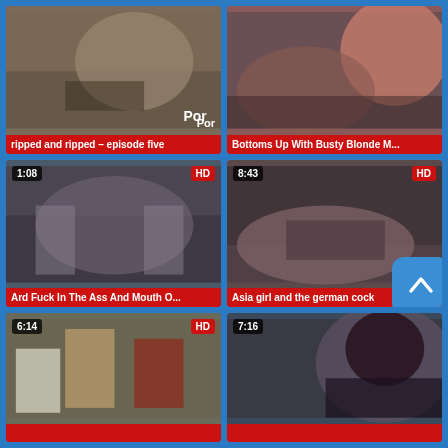[Figure (screenshot): Video thumbnail grid showing adult video website with 6 video cards arranged in 2 columns, 3 rows. Each card has a thumbnail image, duration badge, HD badge where applicable, and a red title bar.]
ripped and ripped - episode five
Bottoms Up With Busty Blonde M...
Ard Fuck In The Ass And Mouth O...
Asia girl and the german cock
6:14 HD video thumbnail
7:16 video thumbnail